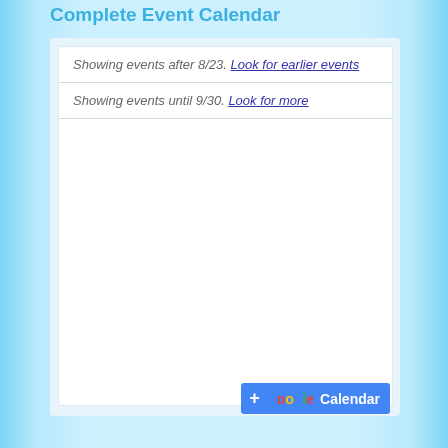Complete Event Calendar
Showing events after 8/23. Look for earlier events
Showing events until 9/30. Look for more
[Figure (screenshot): Google Calendar button/badge in blue with plus icon]